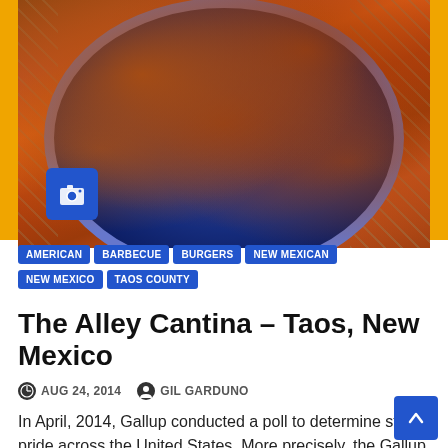[Figure (photo): Fried food (chicken tenders or similar) on a dark blue/purple plate with wicker/grid patio furniture visible in background. Camera icon badge in lower left corner of photo.]
AMERICAN
BARBECUE
BURGERS
NEW MEXICAN
NEW MEXICO
TAOS COUNTY
The Alley Cantina – Taos, New Mexico
AUG 24, 2014   GIL GARDUNO
In April, 2014, Gallup conducted a poll to determine state pride across the United States. More precisely, the Gallup poll…